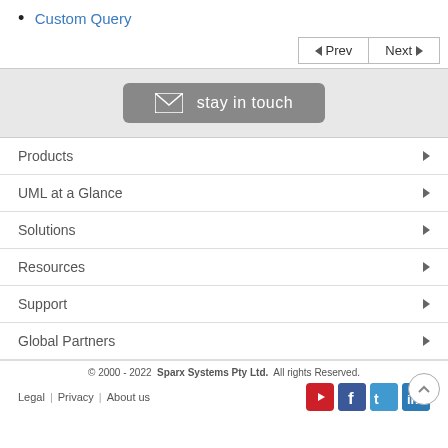Custom Query
Prev  Next
[Figure (infographic): Stay in touch button with envelope icon]
Products
UML at a Glance
Solutions
Resources
Support
Global Partners
© 2000 - 2022  Sparx Systems Pty Ltd.  All rights Reserved.  Legal | Privacy | About us